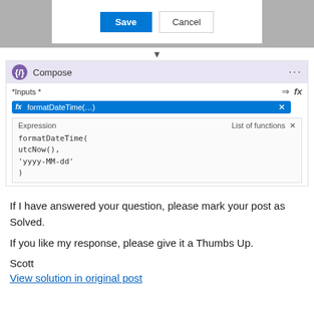[Figure (screenshot): Screenshot showing a dialog with Save and Cancel buttons at top, followed by a Compose card with Inputs field containing a formatDateTime expression editor panel showing: formatDateTime( utcNow(), 'yyyy-MM-dd' )]
If I have answered your question, please mark your post as Solved.
If you like my response, please give it a Thumbs Up.
Scott
View solution in original post